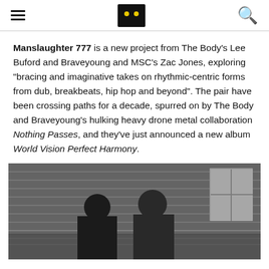[hamburger menu] [M logo] [search icon]
Manslaughter 777 is a new project from The Body's Lee Buford and Braveyoung and MSC's Zac Jones, exploring "bracing and imaginative takes on rhythmic-centric forms from dub, breakbeats, hip hop and beyond". The pair have been crossing paths for a decade, spurred on by The Body and Braveyoung's hulking heavy drone metal collaboration Nothing Passes, and they've just announced a new album World Vision Perfect Harmony.
[Figure (photo): Black and white photo of two bearded men standing in front of a brick wall with a chain-link fence, one wearing a black t-shirt]